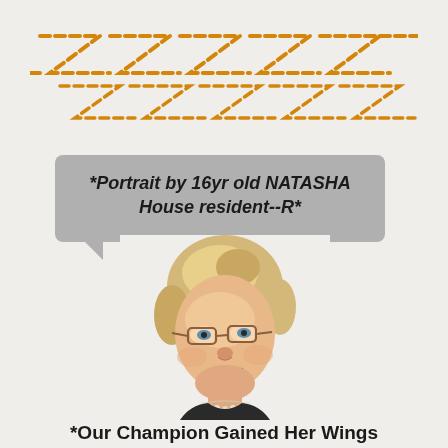[Figure (illustration): Decorative zigzag/chevron dashed arrow pattern in orange/amber color, two rows of repeating Z-shaped dashed lines pointing right]
*Portrait by 16yr old NATASHA House resident--R*
[Figure (illustration): Hand-drawn or painted portrait illustration of an older woman with short blonde hair, glasses, pearl necklace, wearing a dark top, smiling. Style is a painted caricature/portrait.]
*Our Champion Gained Her Wings